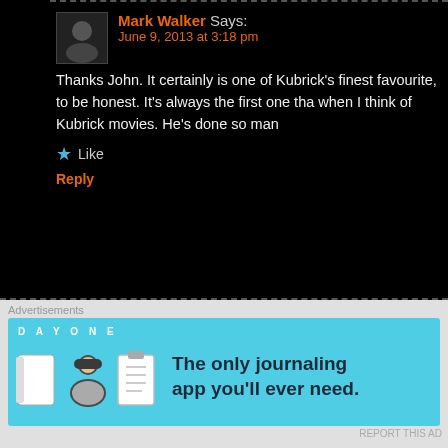[Figure (screenshot): Blog comment section on dark background showing replies between Mark Walker and vinnieh, with an advertisement bar at the bottom for Day One journaling app]
Mark Walker Says:
June 9, 2013 at 3:18 pm
Thanks John. It certainly is one of Kubrick's finest favourite, to be honest. It's always the first one that when I think of Kubrick movies. He's done so man
Like
Reply
vinnieh Says:
June 9, 2013 at 9:27 am
Top scene man, long time since I've seen the film.
Like
Reply
Mark Walker Says:
June 9, 2013 at 3:19 pm
Cheers Vinnie. It's been a while since I've seen it
Advertisements
[Figure (screenshot): Day One journaling app advertisement banner with cyan background, app icons, and text 'The only journaling app you'll ever need.']